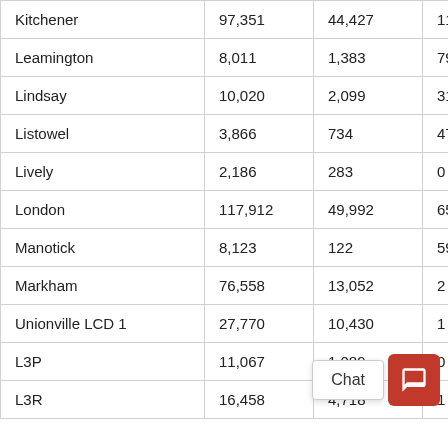| City | Col2 | Col3 | Col4 | Col5 |
| --- | --- | --- | --- | --- |
| Kitchener | 97,351 | 44,427 | 112 | 1… |
| Leamington | 8,011 | 1,383 | 79 | 9… |
| Lindsay | 10,020 | 2,099 | 317 | 1… |
| Listowel | 3,866 | 734 | 477 | 5… |
| Lively | 2,186 | 283 | 0 | 2… |
| London | 117,912 | 49,992 | 65 | 1… |
| Manotick | 8,123 | 122 | 59 | 8… |
| Markham | 76,558 | 13,052 | 2 | 8… |
| Unionville LCD 1 | 27,770 | 10,430 | 1 | 3… |
| L3P | 11,067 | 1,089 | 0 | 1… |
| L3R | 16,458 | 4,718 | 1 | 3… |